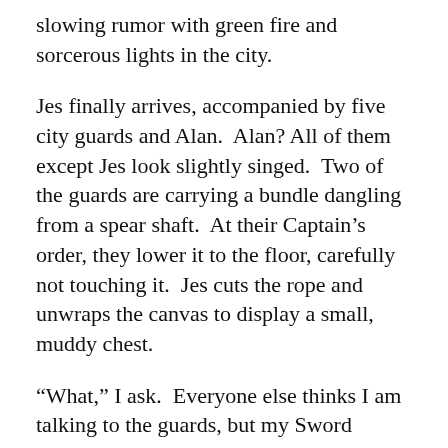slowing rumor with green fire and sorcerous lights in the city.
Jes finally arrives, accompanied by five city guards and Alan.  Alan? All of them except Jes look slightly singed.  Two of the guards are carrying a bundle dangling from a spear shaft.  At their Captain’s order, they lower it to the floor, carefully not touching it.  Jes cuts the rope and unwraps the canvas to display a small, muddy chest.
“What,” I ask.  Everyone else thinks I am talking to the guards, but my Sword knows I’m talking to it.
“No stench, no power,” it answers.  I take that as ‘I don’t know what it is’.
“Rout dug this up,” the Captain also answers. “Blight showed up shortly after and tried to take it from him